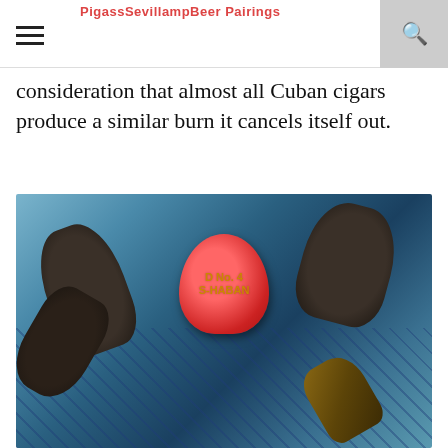PigassSevillampBeer Pairings
consideration that almost all Cuban cigars produce a similar burn it cancels itself out.
[Figure (photo): Photo of burned Cuban cigar stubs resting in a blue Habanos ashtray, with a red No. 4 Habanos cigar cap visible in the center.]